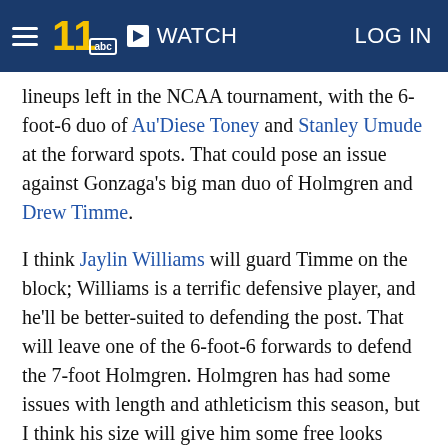WATCH | LOG IN
lineups left in the NCAA tournament, with the 6-foot-6 duo of Au'Diese Toney and Stanley Umude at the forward spots. That could pose an issue against Gonzaga's big man duo of Holmgren and Drew Timme.
I think Jaylin Williams will guard Timme on the block; Williams is a terrific defensive player, and he'll be better-suited to defending the post. That will leave one of the 6-foot-6 forwards to defend the 7-foot Holmgren. Holmgren has had some issues with length and athleticism this season, but I think his size will give him some free looks against Arkansas. At the other end, Holmgren's elite shot-blocking ability will be a huge asset against the Razorbacks, who struggle